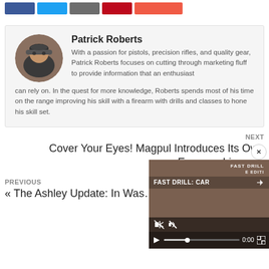[Figure (infographic): Social share buttons: Facebook (blue), Twitter (light blue), grey button, Pinterest (red), and orange/red button]
[Figure (photo): Circular avatar photo of Patrick Roberts, a man wearing a cap and shooting glasses outdoors]
Patrick Roberts
With a passion for pistols, precision rifles, and quality gear, Patrick Roberts focuses on cutting through marketing fluff to provide information that an enthusiast can rely on. In the quest for more knowledge, Roberts spends most of his time on the range improving his skill with a firearm with drills and classes to hone his skill set.
NEXT
Cover Your Eyes! Magpul Introduces Its Own Eyewear Lineup »
PREVIOUS
« The Ashley Update: In Was…
[Figure (screenshot): Embedded video player showing FAST DRILL: CAR... with playback controls, mute icon, progress bar at 0:00, and fullscreen button. Close (x) button in upper right.]